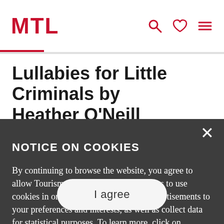MTL
Lullabies for Little Criminals by Heather O'Neill
NOTICE ON COOKIES
By continuing to browse the website, you agree to allow Tourisme Montréal and third parties to use cookies in order to tailor content and advertisements to your preferences and interests, as well as collect data for statistical purposes. To learn more, click on Customize.
I agree